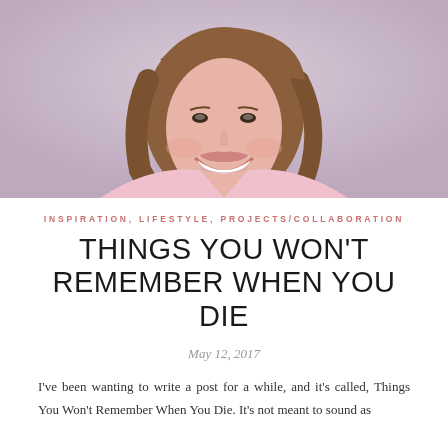[Figure (photo): Smiling woman with long wavy auburn hair wearing a light pink sleeveless top, photographed against a soft lavender-pink background, cropped at chest level.]
INSPIRATION, LIFESTYLE, PROJECTS/COLLABORATION
THINGS YOU WON'T REMEMBER WHEN YOU DIE
May 12, 2017
I've been wanting to write a post for a while, and it's called, Things You Won't Remember When You Die. It's not meant to sound as